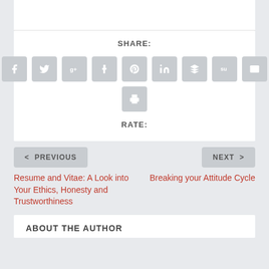SHARE:
[Figure (infographic): Social share buttons: Facebook, Twitter, Google+, Tumblr, Pinterest, LinkedIn, Buffer, StumbleUpon, Email, Print]
RATE:
< PREVIOUS
NEXT >
Resume and Vitae: A Look into Your Ethics, Honesty and Trustworthiness
Breaking your Attitude Cycle
ABOUT THE AUTHOR